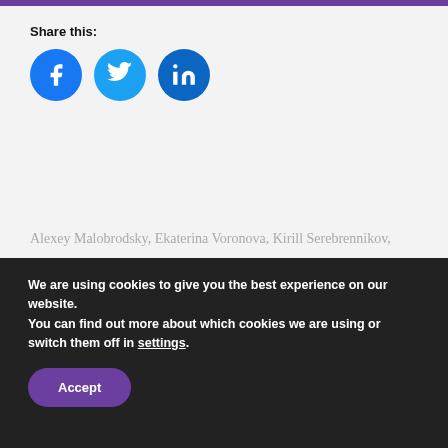Share this:
[Figure (other): Three circular social media share buttons: Facebook (blue), Twitter (cyan), LinkedIn (dark blue)]
Alexey Malobrodsky, Ekaterina Voronova, Kirill Serebrennikov, Moscow, Nina Maslyaeva, Platform, Platforma, Seventh Studio, Seventh Studio Case, Sofia Apfelbaum, Theatre, Yuri Itin, Платформа, Седьмая Студия
We are using cookies to give you the best experience on our website.
You can find out more about which cookies we are using or switch them off in settings.
Accept